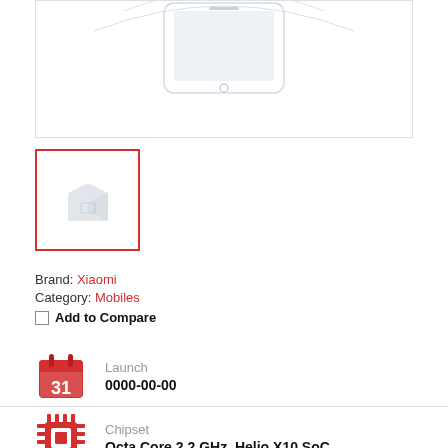[Figure (photo): Main product image placeholder showing a faint phone/device outline on white background with light border]
[Figure (photo): Thumbnail product image with red border showing a faint box/package icon on white background]
Brand: Xiaomi
Category: Mobiles
Add to Compare
Launch
0000-00-00
Chipset
Octa Core 2.2 GHz, Helio X10 SoC